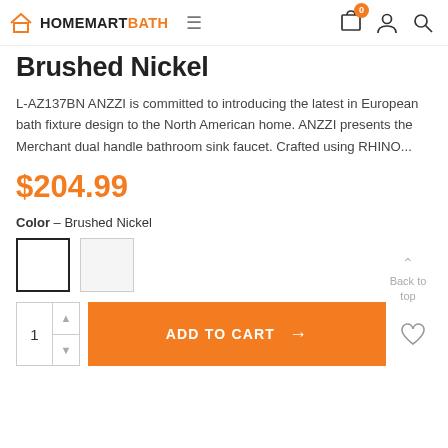HOMEMARTBATH — navigation bar with cart (0), account, search icons
Brushed Nickel
L-AZ137BN ANZZI is committed to introducing the latest in European bath fixture design to the North American home. ANZZI presents the Merchant dual handle bathroom sink faucet. Crafted using RHINO...
$204.99
Color – Brushed Nickel
[Figure (other): Two color swatch boxes for finish selection; first swatch has bold black border (selected), second has light gray border]
ADD TO CART →